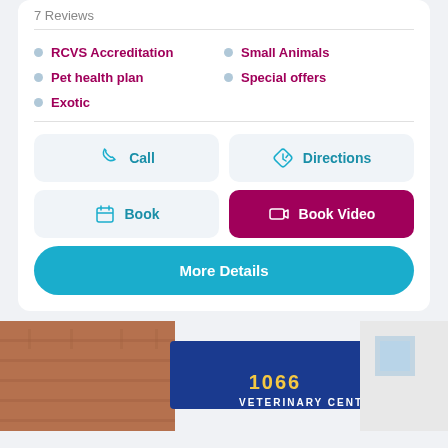7 Reviews
RCVS Accreditation
Small Animals
Pet health plan
Special offers
Exotic
Call
Directions
Book
Book Video
More Details
[Figure (photo): Exterior photo of 1066 Veterinary Centre showing a blue sign on a brick building]